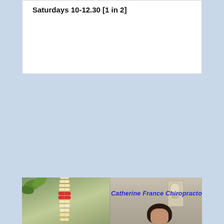Saturdays 10-12.30 [1 in 2]
[Figure (photo): Photo of Catherine France Chiropractor in a clinic setting, with a spine model on the left and a person visible on the right side of the image. Blue italic text overlay reads 'Catherine France Chiropractor'.]